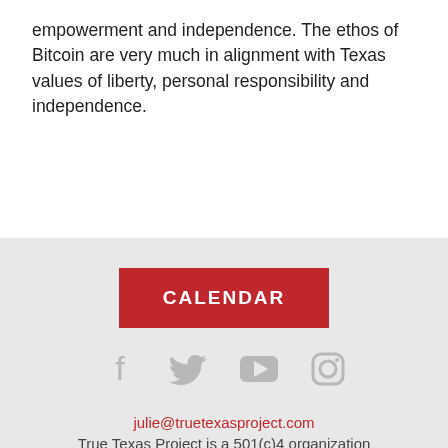empowerment and independence. The ethos of Bitcoin are very much in alignment with Texas values of liberty, personal responsibility and independence.
[Figure (other): CALENDAR button (red background, white bold uppercase text)]
[Figure (other): Social media icons row: Facebook, Twitter, YouTube, Instagram — all in light gray]
julie@truetexasproject.com
True Texas Project is a 501(c)4 organization